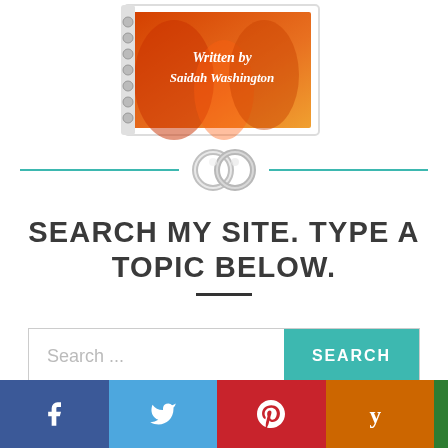[Figure (illustration): Spiral-bound book with flames on cover, titled 'Written by Saidah Washington', shown at an angle on a white background]
[Figure (illustration): Two interlocked silver wedding rings acting as a decorative divider between two teal horizontal lines]
SEARCH MY SITE. TYPE A TOPIC BELOW.
[Figure (screenshot): Search bar with 'Search ...' placeholder text and a teal SEARCH button]
[Figure (infographic): Social media share bar with four buttons: Facebook (blue), Twitter (light blue), Pinterest (red), Yummly (orange)]